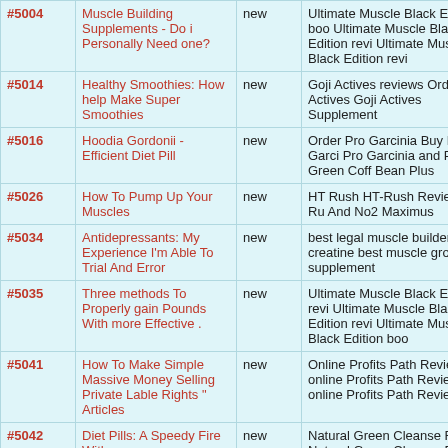| ID | Title | Status | Keywords |
| --- | --- | --- | --- |
| #5004 | Muscle Building Supplements - Do i Personally Need one? | new | Ultimate Muscle Black Edition boo Ultimate Muscle Black Edition revi Ultimate Muscle Black Edition revi |
| #5014 | Healthy Smoothies: How help Make Super Smoothies | new | Goji Actives reviews Order Goji Actives Goji Actives Supplement |
| #5016 | Hoodia Gordonii - Efficient Diet Pill | new | Order Pro Garcinia Buy Pro Garci Pro Garcinia and Pure Green Coff Bean Plus |
| #5026 | How To Pump Up Your Muscles | new | HT Rush HT-Rush Review HT-Ru And No2 Maximus |
| #5034 | Antidepressants: My Experience I'm Able To Trial And Error | new | best legal muscle builder creatine best muscle growth supplement |
| #5035 | Three methods To Properly gain Pounds With more Effective . | new | Ultimate Muscle Black Edition revi Ultimate Muscle Black Edition revi Ultimate Muscle Black Edition boo |
| #5041 | How To Make Simple Massive Money Selling Private Lable Rights " Articles | new | Online Profits Path Reviews online Profits Path Review online Profits Path Review |
| #5042 | Diet Pills: A Speedy Fire With | new | Natural Green Cleanse Reviews Natural Green Cleanse Reviews |